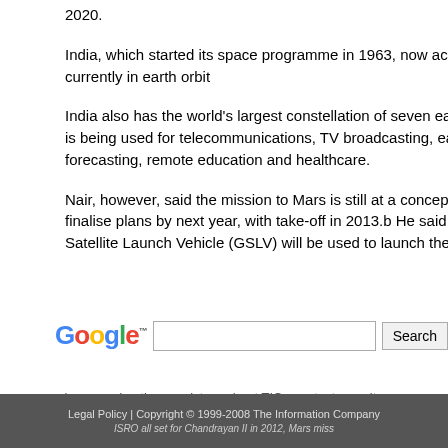2020.
India, which started its space programme in 1963, now account fo... currently in earth orbit
India also has the world's largest constellation of seven earth-obse... is being used for telecommunications, TV broadcasting, earth obs... forecasting, remote education and healthcare.
Nair, however, said the mission to Mars is still at a conceptual sta... finalise plans by next year, with take-off in 2013.b He said the sa... Satellite Launch Vehicle (GSLV) will be used to launch the probe
[Figure (other): Google search bar with logo, text input field, and Search button]
home . advertise . register . about TIC . contact us . site ...
Legal Policy | Copyright © 1999-2008 The Information Company... ISRO all set for Chandrayan II in 2012, Mars miss...